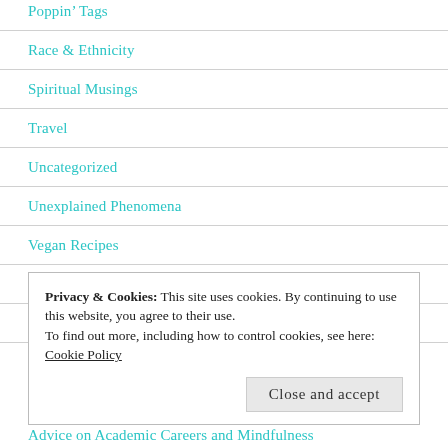Poppin' Tags
Race & Ethnicity
Spiritual Musings
Travel
Uncategorized
Unexplained Phenomena
Vegan Recipes
Video
Wisdom
Privacy & Cookies: This site uses cookies. By continuing to use this website, you agree to their use.
To find out more, including how to control cookies, see here:
Cookie Policy
Close and accept
Advice on Academic Careers and Mindfulness